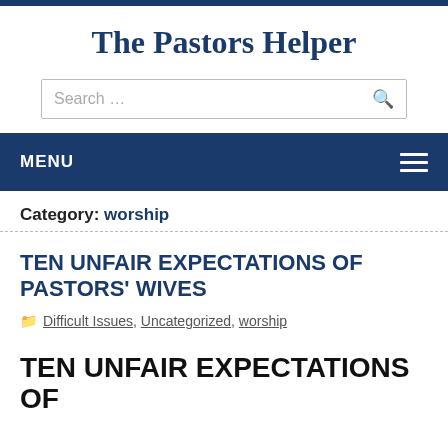The Pastors Helper
Category: worship
TEN UNFAIR EXPECTATIONS OF PASTORS' WIVES
Difficult Issues, Uncategorized, worship
TEN UNFAIR EXPECTATIONS OF